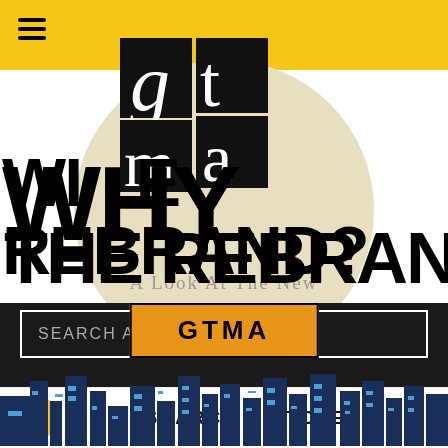[Figure (logo): GTMA logo with stacked serif letters g, t, m, a in black boxes overlapping yellow header]
WHY THE REBRAND?
A Look At The New
GTMA
[Figure (illustration): Stylized city skyline made of dark blue and light blue geometric rectangles]
SEARCH ARTICLES
SEARCH ARTICLES